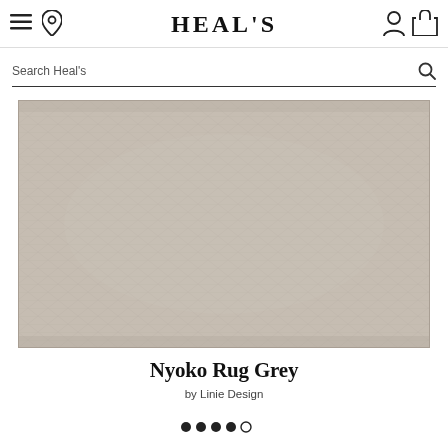HEAL'S
Search Heal's
[Figure (photo): Flat lay photo of the Nyoko Rug in grey — a rectangular woven rug with subtle diamond/honeycomb texture in beige-grey tones, photographed against a white background.]
Nyoko Rug Grey
by Linie Design